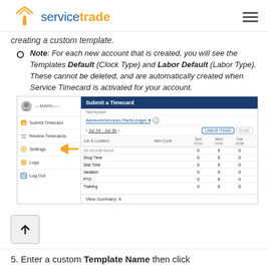ServiceTrade
creating a custom template.
Note: For each new account that is created, you will see the Templates Default (Clock Type) and Labor Default (Labor Type). These cannot be deleted, and are automatically created when Service Timecard is activated for your account.
[Figure (screenshot): Screenshot of ServiceTrade Submit a Timecard interface showing the sidebar with Settings highlighted by an orange arrow, and the main content area with a timecard submission form including Labor Items tab, date range Jul 24 - Jul 30, and rows for Shop Time, Sick Time, Vacation, PTO, Training with numeric columns.]
5. Enter a custom Template Name then click